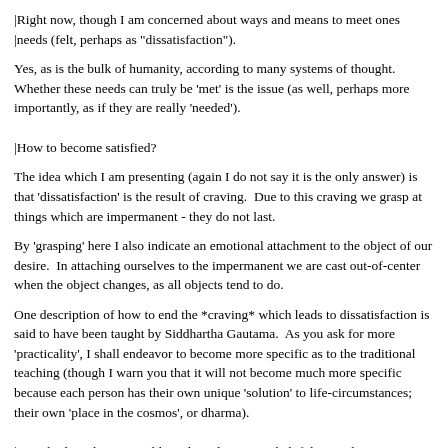|Right now, though I am concerned about ways and means to meet ones |needs (felt, perhaps as "dissatisfaction").
Yes, as is the bulk of humanity, according to many systems of thought. Whether these needs can truly be 'met' is the issue (as well, perhaps more importantly, as if they are really 'needed').
|How to become satisfied?
The idea which I am presenting (again I do not say it is the only answer) is that 'dissatisfaction' is the result of craving.  Due to this craving we grasp at things which are impermanent - they do not last.
By 'grasping' here I also indicate an emotional attachment to the object of our desire.  In attaching ourselves to the impermanent we are cast out-of-center when the object changes, as all objects tend to do.
One description of how to end the *craving* which leads to dissatisfaction is said to have been taught by Siddhartha Gautama.  As you ask for more 'practicality', I shall endeavor to become more specific as to the traditional teaching (though I warn you that it will not become much more specific because each person has their own unique 'solution' to life-circumstances; their own 'place in the cosmos', or dharma).
|#4 only describes a possible end result; it is not helpful towards |finding ways and means towards ending this sense of "dissatisfaction"